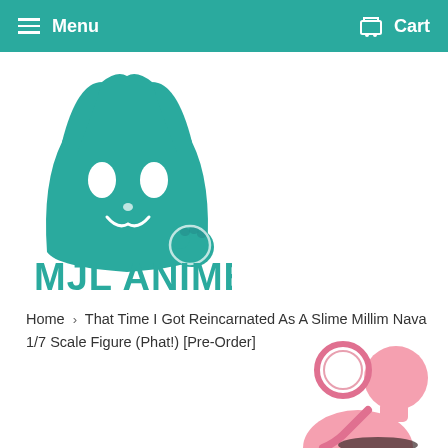Menu   Cart
[Figure (logo): MJL Anime logo — teal cat-like mascot face with pointed ears, oval eyes, whiskers, and a small paw, above bold teal text reading MJL ANIME]
Home  ›  That Time I Got Reincarnated As A Slime Millim Nava 1/7 Scale Figure (Phat!) [Pre-Order]
[Figure (photo): Partial view of a pink anime figure (Millim Nava) visible at bottom right of page, showing upper body and an accessory/prop]